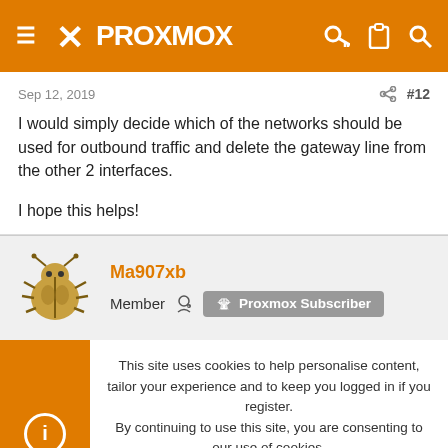PROXMOX
Sep 12, 2019   #12
I would simply decide which of the networks should be used for outbound traffic and delete the gateway line from the other 2 interfaces.

I hope this helps!
[Figure (illustration): Brown beetle/bug avatar icon for user Ma907xb]
Ma907xb
Member  Proxmox Subscriber
This site uses cookies to help personalise content, tailor your experience and to keep you logged in if you register.
By continuing to use this site, you are consenting to our use of cookies.
Accept   Learn more...